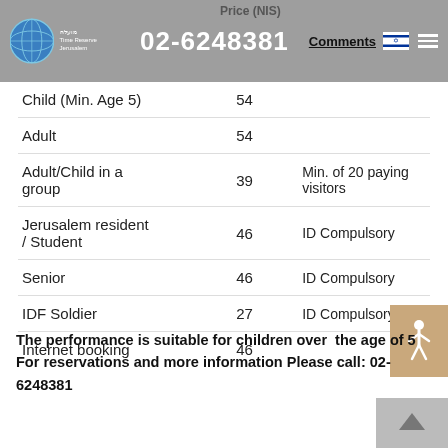02-6248381  Comments  Price (NIS)
|  | Price (NIS) | Comments |
| --- | --- | --- |
| Child (Min. Age 5) | 54 |  |
| Adult | 54 |  |
| Adult/Child in a group | 39 | Min. of 20 paying visitors |
| Jerusalem resident / Student | 46 | ID Compulsory |
| Senior | 46 | ID Compulsory |
| IDF Soldier | 27 | ID Compulsory |
| Internet booking | 46 |  |
The performance is suitable for children over the age of 5  For reservations and more information Please call: 02-6248381